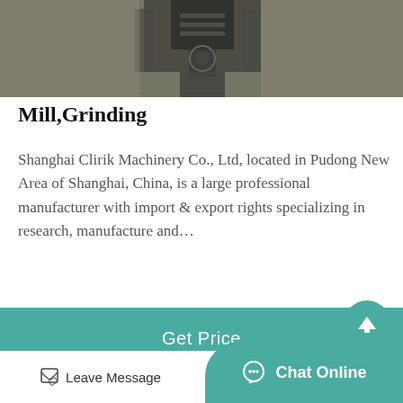[Figure (photo): Industrial machinery or mill equipment viewed from inside a factory setting, dark metallic tones]
Mill,Grinding
Shanghai Clirik Machinery Co., Ltd, located in Pudong New Area of Shanghai, China, is a large professional manufacturer with import & export rights specializing in research, manufacture and…
Get Price
[Figure (photo): Large industrial grinding mill drums/cylinders inside a factory with steel structural elements visible]
Leave Message
Chat Online